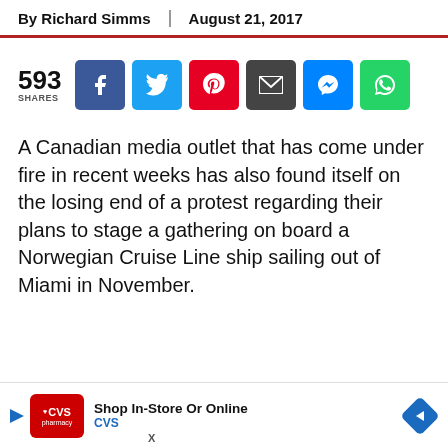By Richard Simms | August 21, 2017
[Figure (infographic): Social share bar showing 593 shares with buttons for Facebook, Twitter, Pinterest, Email, Messenger, and WhatsApp]
A Canadian media outlet that has come under fire in recent weeks has also found itself on the losing end of a protest regarding their plans to stage a gathering on board a Norwegian Cruise Line ship sailing out of Miami in November.
[Figure (infographic): CVS Pharmacy advertisement banner: Shop In-Store Or Online CVS]